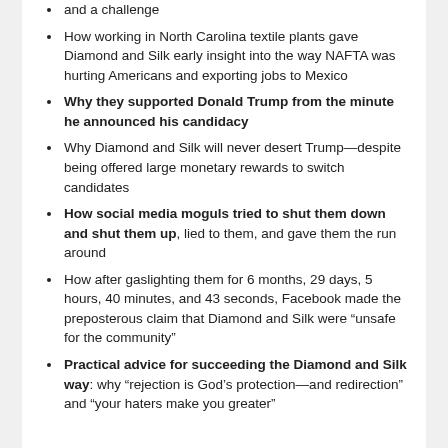and a challenge
How working in North Carolina textile plants gave Diamond and Silk early insight into the way NAFTA was hurting Americans and exporting jobs to Mexico
Why they supported Donald Trump from the minute he announced his candidacy
Why Diamond and Silk will never desert Trump—despite being offered large monetary rewards to switch candidates
How social media moguls tried to shut them down and shut them up, lied to them, and gave them the run around
How after gaslighting them for 6 months, 29 days, 5 hours, 40 minutes, and 43 seconds, Facebook made the preposterous claim that Diamond and Silk were “unsafe for the community”
Practical advice for succeeding the Diamond and Silk way: why “rejection is God’s protection—and redirection” and “your haters make you greater”